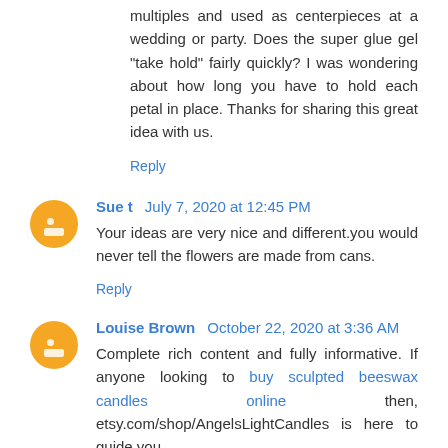multiples and used as centerpieces at a wedding or party. Does the super glue gel "take hold" fairly quickly? I was wondering about how long you have to hold each petal in place. Thanks for sharing this great idea with us.
Reply
Sue t  July 7, 2020 at 12:45 PM
Your ideas are very nice and different.you would never tell the flowers are made from cans.
Reply
Louise Brown  October 22, 2020 at 3:36 AM
Complete rich content and fully informative. If anyone looking to buy sculpted beeswax candles online then, etsy.com/shop/AngelsLightCandles is here to guide you.
Reply
To leave a comment, click the button below to sign in with Google.